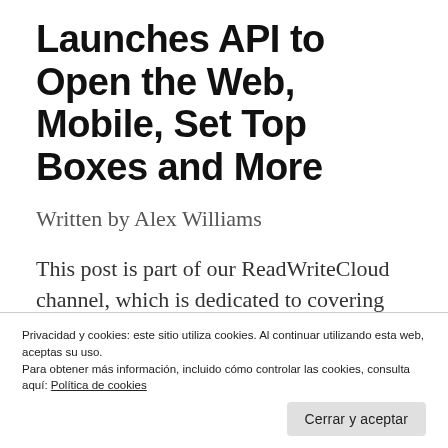Launches API to Open the Web, Mobile, Set Top Boxes and More
Written by Alex Williams
This post is part of our ReadWriteCloud channel, which is dedicated to covering virtualization and cloud computing. The channel is sponsored by Intel and VMware. As you're planning your Cloud
Privacidad y cookies: este sitio utiliza cookies. Al continuar utilizando esta web, aceptas su uso.
Para obtener más información, incluido cómo controlar las cookies, consulta aquí: Política de cookies
Cerrar y aceptar